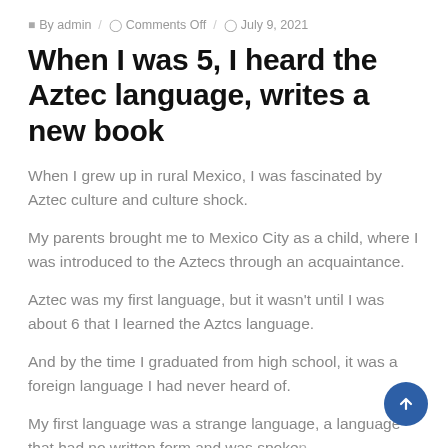By admin / Comments Off / July 9, 2021
When I was 5, I heard the Aztec language, writes a new book
When I grew up in rural Mexico, I was fascinated by Aztec culture and culture shock.
My parents brought me to Mexico City as a child, where I was introduced to the Aztecs through an acquaintance.
Aztec was my first language, but it wasn't until I was about 6 that I learned the Aztcs language.
And by the time I graduated from high school, it was a foreign language I had never heard of.
My first language was a strange language, a language that had no written form and was spoken by a very few, mostly in their homes and